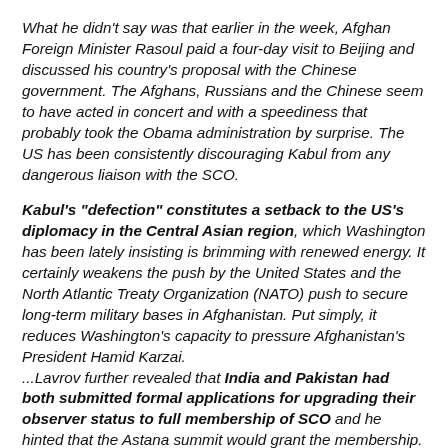What he didn't say was that earlier in the week, Afghan Foreign Minister Rasoul paid a four-day visit to Beijing and discussed his country's proposal with the Chinese government. The Afghans, Russians and the Chinese seem to have acted in concert and with a speediness that probably took the Obama administration by surprise. The US has been consistently discouraging Kabul from any dangerous liaison with the SCO.
Kabul's "defection" constitutes a setback to the US's diplomacy in the Central Asian region, which Washington has been lately insisting is brimming with renewed energy. It certainly weakens the push by the United States and the North Atlantic Treaty Organization (NATO) push to secure long-term military bases in Afghanistan. Put simply, it reduces Washington's capacity to pressure Afghanistan's President Hamid Karzai. ...Lavrov further revealed that India and Pakistan had both submitted formal applications for upgrading their observer status to full membership of SCO and he hinted that the Astana summit would grant the membership. Clearly, Moscow and Beijing have simultaneously steered...